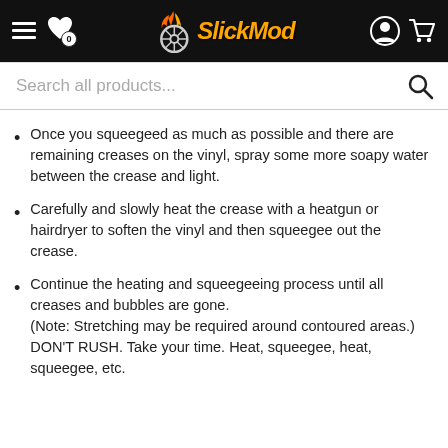SlickMod
Once you squeegeed as much as possible and there are remaining creases on the vinyl, spray some more soapy water between the crease and light.
Carefully and slowly heat the crease with a heatgun or hairdryer to soften the vinyl and then squeegee out the crease.
Continue the heating and squeegeeing process until all creases and bubbles are gone.
(Note: Stretching may be required around contoured areas.)
DON'T RUSH. Take your time. Heat, squeegee, heat, squeegee, etc.